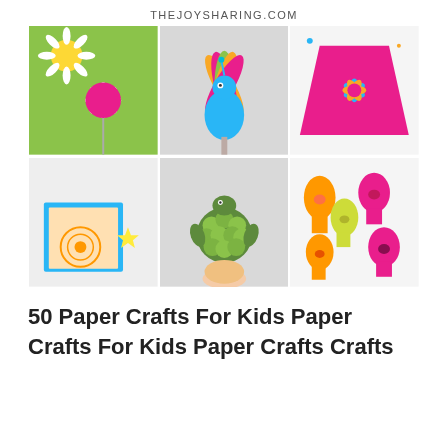THEJOYSHARING.COM
[Figure (photo): Collage of 6 kids paper craft photos: paper flower on stick with green background, peacock hand-puppet on stick, pink paper folded with flower design, blue decorated box, turtle made of pom-poms held in hand, colorful paper handprints]
50 Paper Crafts For Kids Paper Crafts For Kids Paper Crafts Crafts